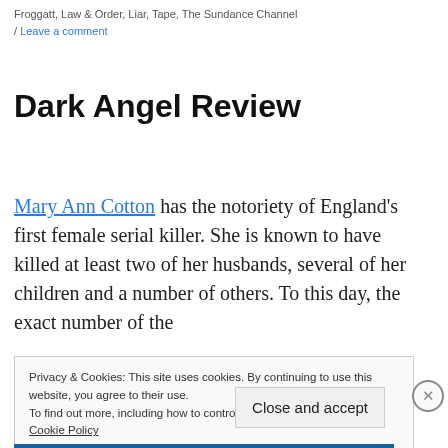Froggatt, Law & Order, Liar, Tape, The Sundance Channel / Leave a comment
Dark Angel Review
Mary Ann Cotton has the notoriety of England's first female serial killer. She is known to have killed at least two of her husbands, several of her children and a number of others. To this day, the exact number of the
Privacy & Cookies: This site uses cookies. By continuing to use this website, you agree to their use.
To find out more, including how to control cookies, see here:
Cookie Policy

Close and accept